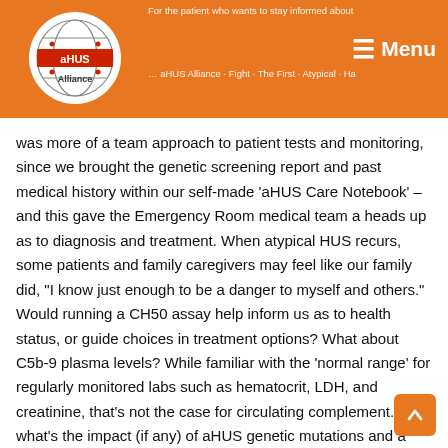aHUS Alliance — Menu
was more of a team approach to patient tests and monitoring, since we brought the genetic screening report and past medical history within our self-made 'aHUS Care Notebook' – and this gave the Emergency Room medical team a heads up as to diagnosis and treatment. When atypical HUS recurs, some patients and family caregivers may feel like our family did, "I know just enough to be a danger to myself and others." Would running a CH50 assay help inform us as to health status, or guide choices in treatment options? What about C5b-9 plasma levels? While familiar with the 'normal range' for regularly monitored labs such as hematocrit, LDH, and creatinine, that's not the case for circulating complement. And what's the impact (if any) of aHUS genetic mutations and a patient's complement profile, including whether their disease state is acute or in remission? (See Table 1, Noris et al 2014) For aHUS patients being treated with ravulizumab, if consistency of CH50 test results are less than reliable, then what alternative exists?